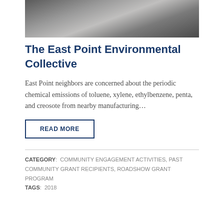[Figure (photo): Photo of people sitting around tables in a meeting or gathering setting, viewed from an angle.]
The East Point Environmental Collective
East Point neighbors are concerned about the periodic chemical emissions of toluene, xylene, ethylbenzene, penta, and creosote from nearby manufacturing…
READ MORE
CATEGORY:  COMMUNITY ENGAGEMENT ACTIVITIES, PAST COMMUNITY GRANT RECIPIENTS, ROADSHOW GRANT PROGRAM
TAGS:  2018